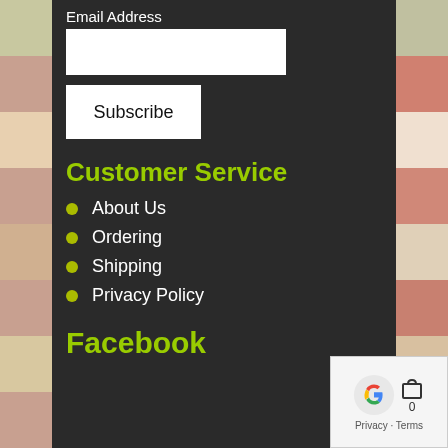Email Address
Customer Service
About Us
Ordering
Shipping
Privacy Policy
Facebook
[Figure (other): Google reCAPTCHA or sign-in widget with shopping cart icon showing 0 items, and Privacy - Terms text]